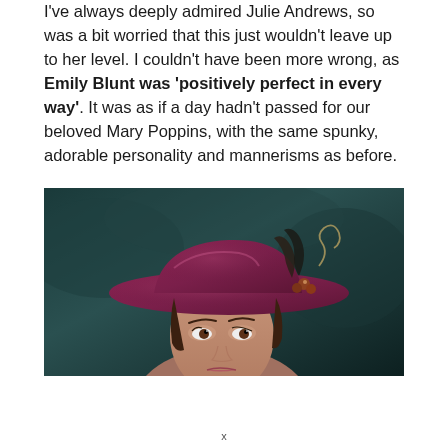I've always deeply admired Julie Andrews, so was a bit worried that this just wouldn't leave up to her level. I couldn't have been more wrong, as Emily Blunt was 'positively perfect in every way'. It was as if a day hadn't passed for our beloved Mary Poppins, with the same spunky, adorable personality and mannerisms as before.
[Figure (photo): Close-up photo of Emily Blunt as Mary Poppins wearing a dark red/maroon wide-brimmed hat decorated with feathers and berries, against a blurred dark teal background.]
x